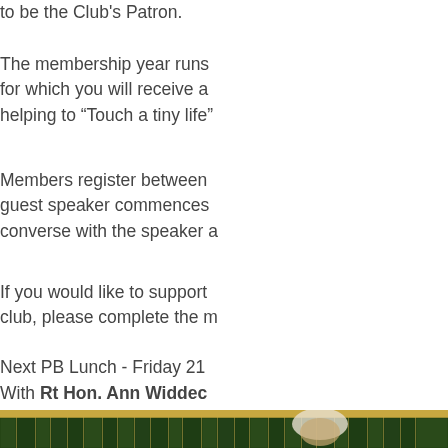to be the Club's Patron.
The membership year runs for which you will receive a helping to “Touch a tiny life”
Members register between guest speaker commences converse with the speaker a
If you would like to support club, please complete the m
Next PB Lunch - Friday 21
With Rt Hon. Ann Widdec
[Figure (photo): Photograph of a woman with white/blonde hair seated in front of a bookshelf filled with green books]